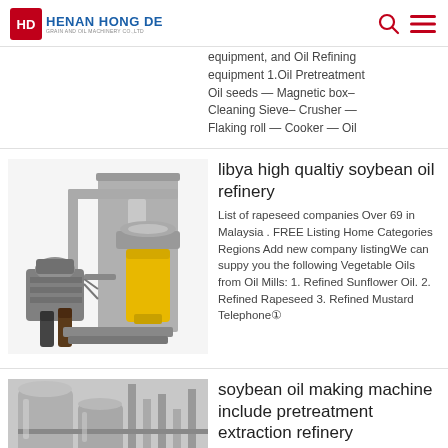HENAN HONG DE GRAIN AND OIL MACHINERY CO., LTD
equipment, and Oil Refining equipment 1.Oil Pretreatment Oil seeds — Magnetic box– Cleaning Sieve– Crusher — Flaking roll — Cooker — Oil
[Figure (photo): Oil press / refinery machine — industrial hydraulic oil press with yellow oil container and motor unit, with bottles of oil beside it]
libya high qualtiy soybean oil refinery
List of rapeseed companies Over 69 in Malaysia . FREE Listing Home Categories Regions Add new company listingWe can suppy you the following Vegetable Oils from Oil Mills: 1. Refined Sunflower Oil. 2. Refined Rapeseed 3. Refined Mustard Telephone⓪
[Figure (photo): Industrial oil processing facility interior showing large cylindrical tanks and pipework]
soybean oil making machine include pretreatment extraction refinery